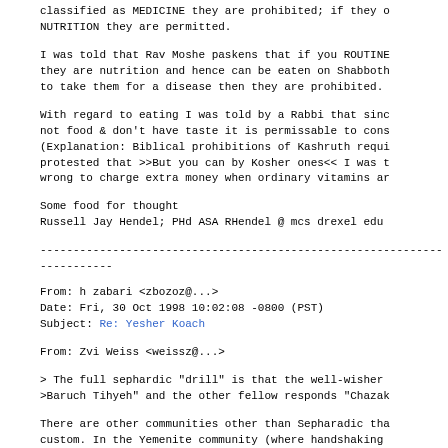classified as MEDICINE they are prohibited; if they NUTRITION they are permitted.
I was told that Rav Moshe paskens that if you ROUTINE they are nutrition and hence can be eaten on Shabboth to take them for a disease then they are prohibited.
With regard to eating I was told by a Rabbi that sinc not food & don't have taste it is permissable to cons (Explanation: Biblical prohibitions of Kashruth requi protested that >>But you can by Kosher ones<< I was t wrong to charge extra money when ordinary vitamins ar
Some food for thought
Russell Jay Hendel; PHd ASA RHendel @ mcs drexel edu
------------------------------------------------------------------------
From: h zabari <zbozoz@...>
Date: Fri, 30 Oct 1998 10:02:08 -0800 (PST)
Subject: Re: Yesher Koach
From: Zvi Weiss <weissz@...>
> The full sephardic "drill" is that the well-wisher >Baruch Tihyeh" and the other fellow responds "Chazak
There are other communities other than Sepharadic tha custom. In the Yemenite community (where handshaking